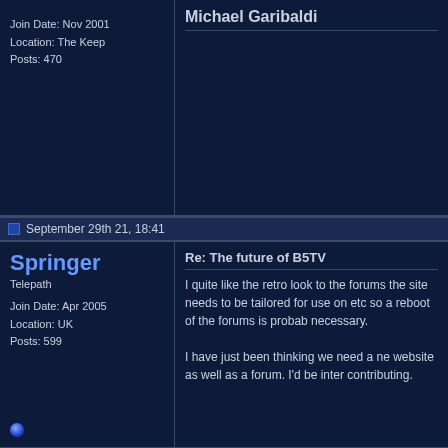Join Date: Nov 2001
Location: The Keep
Posts: 470
September 29th 21, 18:41
Springer
Telepath
Join Date: Apr 2005
Location: UK
Posts: 599
Re: The future of B5TV
I quite like the retro look to the forums the site needs to be tailored for use on etc so a reboot of the forums is probably necessary. I have just been thinking we need a ne website as well as a forum. I'd be inter contributing.
September 29th 21, 18:45
AntonyF
Administrator
Re: The future of B5TV
The other issue is spam. I have turned registration and they have to email for password, which is not good long term. Also it's not retro, it's vintage. This is